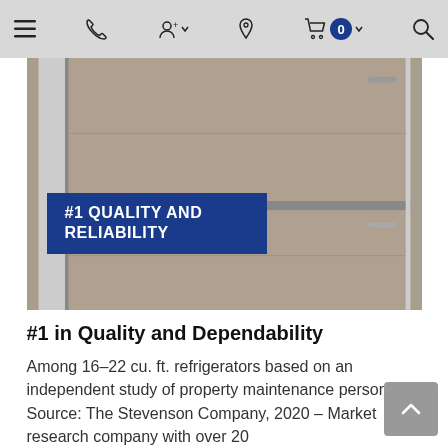Navigation bar with menu, phone, account, location, cart (0), and search icons
[Figure (photo): Stainless steel refrigerator with two doors, tan/taupe color panels, shown from an angle. A blue banner overlay reads '#1 QUALITY AND RELIABILITY' in white bold uppercase text.]
#1 in Quality and Dependability
Among 16-22 cu. ft. refrigerators based on an independent study of property maintenance personnel. Source: The Stevenson Company, 2020 – Market research company with over 20